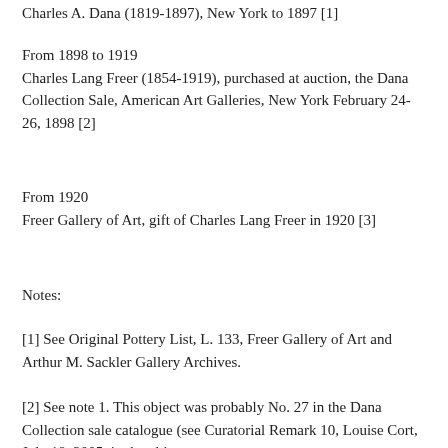Charles A. Dana (1819-1897), New York to 1897 [1]
From 1898 to 1919
Charles Lang Freer (1854-1919), purchased at auction, the Dana Collection Sale, American Art Galleries, New York February 24-26, 1898 [2]
From 1920
Freer Gallery of Art, gift of Charles Lang Freer in 1920 [3]
Notes:
[1] See Original Pottery List, L. 133, Freer Gallery of Art and Arthur M. Sackler Gallery Archives.
[2] See note 1. This object was probably No. 27 in the Dana Collection sale catalogue (see Curatorial Remark 10, Louise Cort, July 18, 2005, in the object